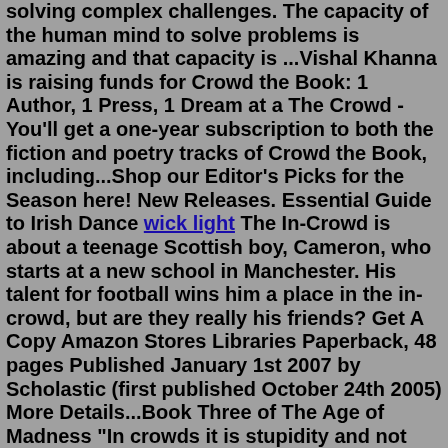solving complex challenges. The capacity of the human mind to solve problems is amazing and that capacity is ...Vishal Khanna is raising funds for Crowd the Book: 1 Author, 1 Press, 1 Dream at a The Crowd - You'll get a one-year subscription to both the fiction and poetry tracks of Crowd the Book, including...Shop our Editor's Picks for the Season here! New Releases. Essential Guide to Irish Dance wick light The In-Crowd is about a teenage Scottish boy, Cameron, who starts at a new school in Manchester. His talent for football wins him a place in the in-crowd, but are they really his friends? Get A Copy Amazon Stores Libraries Paperback, 48 pages Published January 1st 2007 by Scholastic (first published October 24th 2005) More Details...Book Three of The Age of Madness "In crowds it is stupidity and not mother wit that is accumulated." - Gustave le Bon. Some say that to change the world you must first burn it down. Now the Breakers have seized the levers of power, the smoke of riots has replaced the smog of industry, and all must submit to